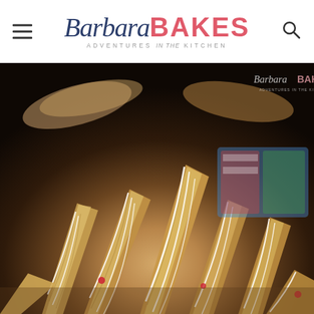Barbara BAKES — ADVENTURES in the KITCHEN
[Figure (photo): Close-up photo of multiple golden-brown horn-shaped pastries (cornucopias or cream horns) drizzled with white icing glaze and showing red jam/fruit filling peeking through, piled on a surface with a colorful patterned background item visible. A Barbara Bakes watermark logo appears in the top right corner of the photo.]